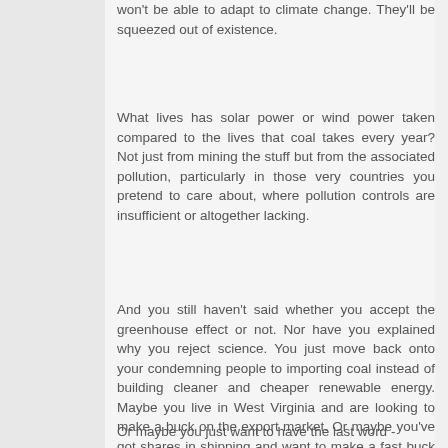won't be able to adapt to climate change. They'll be squeezed out of existence.
What lives has solar power or wind power taken compared to the lives that coal takes every year? Not just from mining the stuff but from the associated pollution, particularly in those very countries you pretend to care about, where pollution controls are insufficient or altogether lacking.
And you still haven't said whether you accept the greenhouse effect or not. Nor have you explained why you reject science. You just move back onto your condemning people to importing coal instead of building cleaner and cheaper renewable energy. Maybe you live in West Virginia and are looking to make a buck on the export market. Or maybe you've got shares in shipping and want to make a fast buck by shipping coal far afield.
Or maybe you just want to have the last word -